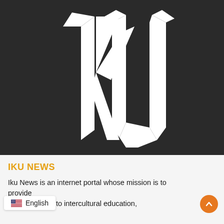[Figure (logo): IKU stylized white logo on dark background — bold letters I, k, U in angular gothic style]
IKU NEWS
Iku News is an internet portal whose mission is to provide information related to intercultural education,